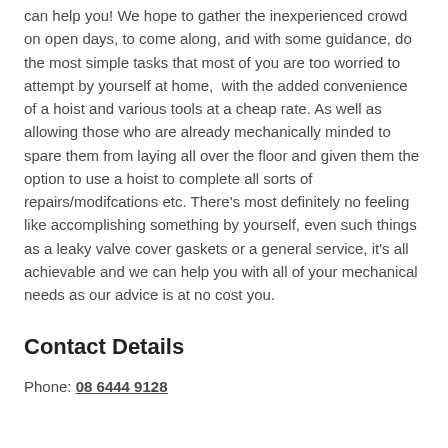can help you! We hope to gather the inexperienced crowd on open days, to come along, and with some guidance, do the most simple tasks that most of you are too worried to attempt by yourself at home,  with the added convenience of a hoist and various tools at a cheap rate. As well as allowing those who are already mechanically minded to spare them from laying all over the floor and given them the option to use a hoist to complete all sorts of repairs/modifcations etc. There's most definitely no feeling like accomplishing something by yourself, even such things as a leaky valve cover gaskets or a general service, it's all achievable and we can help you with all of your mechanical needs as our advice is at no cost you.
Contact Details
Phone: 08 6444 9128